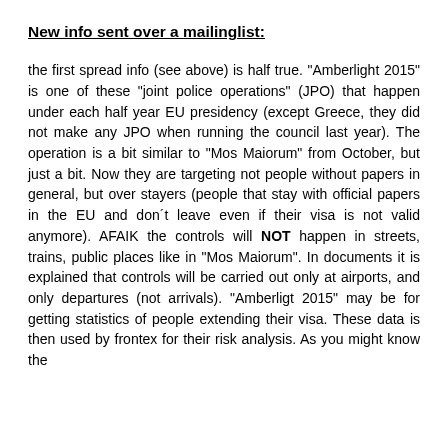New info sent over a mailinglist:
the first spread info (see above) is half true. "Amberlight 2015" is one of these "joint police operations" (JPO) that happen under each half year EU presidency (except Greece, they did not make any JPO when running the council last year). The operation is a bit similar to "Mos Maiorum" from October, but just a bit. Now they are targeting not people without papers in general, but over stayers (people that stay with official papers in the EU and don´t leave even if their visa is not valid anymore). AFAIK the controls will NOT happen in streets, trains, public places like in "Mos Maiorum". In documents it is explained that controls will be carried out only at airports, and only departures (not arrivals). "Amberligt 2015" may be for getting statistics of people extending their visa. These data is then used by frontex for their risk analysis. As you might know the